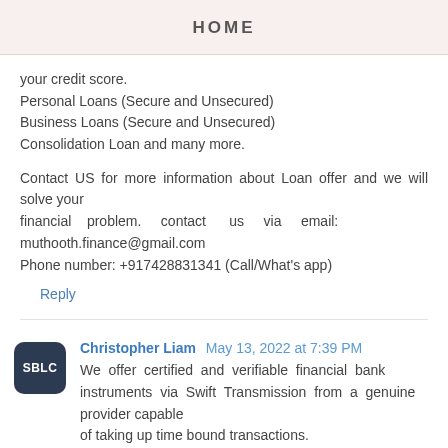HOME
your credit score.
Personal Loans (Secure and Unsecured)
Business Loans (Secure and Unsecured)
Consolidation Loan and many more.
Contact US for more information about Loan offer and we will solve your financial problem. contact us via email: muthooth.finance@gmail.com
Phone number: +917428831341 (Call/What's app)
Reply
Christopher Liam  May 13, 2022 at 7:39 PM
We offer certified and verifiable financial bank instruments via Swift Transmission from a genuine provider capable of taking up time bound transactions.
FOR LEASING OF FRESH CUT BG/SBLC